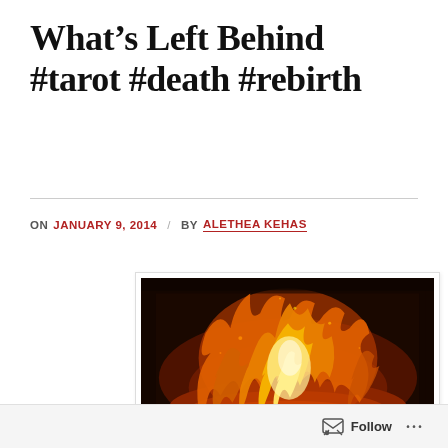What’s Left Behind #tarot #death #rebirth
ON JANUARY 9, 2014 / BY ALETHEA KEHAS
[Figure (photo): Close-up photograph of bright orange and yellow flames burning, with dark embers and burning material visible in a dark setting, evoking themes of fire, transformation, death and rebirth.]
Follow ...